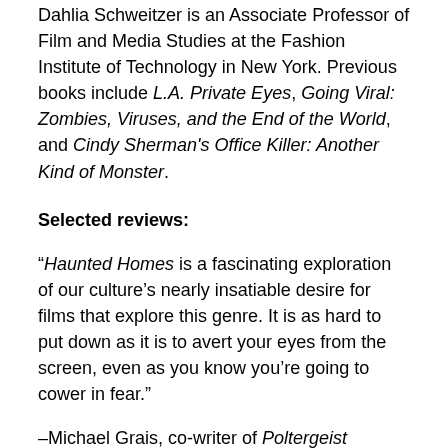Dahlia Schweitzer is an Associate Professor of Film and Media Studies at the Fashion Institute of Technology in New York. Previous books include L.A. Private Eyes, Going Viral: Zombies, Viruses, and the End of the World, and Cindy Sherman's Office Killer: Another Kind of Monster.
Selected reviews:
“Haunted Homes is a fascinating exploration of our culture’s nearly insatiable desire for films that explore this genre. It is as hard to put down as it is to avert your eyes from the screen, even as you know you’re going to cower in fear.”
–Michael Grais, co-writer of Poltergeist
“Haunted Homes is a book for anyone who has ever